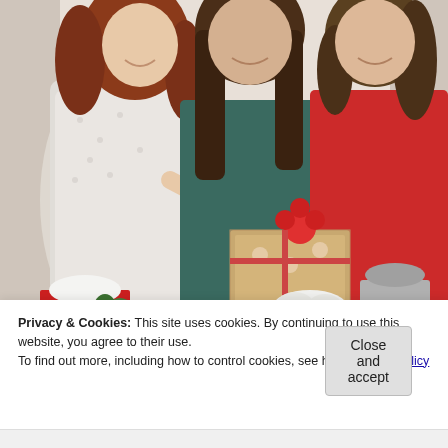[Figure (photo): Three women smiling and opening/wrapping gifts. Left woman wears white patterned blouse, center woman wears teal/dark green top, right woman wears red sweater. Gifts are wrapped with kraft paper, ribbons, and red/white patterned paper. Scene appears festive/holiday.]
Privacy & Cookies: This site uses cookies. By continuing to use this website, you agree to their use.
To find out more, including how to control cookies, see here: Cookie Policy
Close and accept